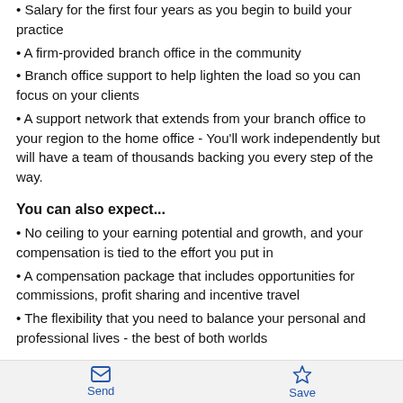• Salary for the first four years as you begin to build your practice
• A firm-provided branch office in the community
• Branch office support to help lighten the load so you can focus on your clients
• A support network that extends from your branch office to your region to the home office - You'll work independently but will have a team of thousands backing you every step of the way.
You can also expect...
• No ceiling to your earning potential and growth, and your compensation is tied to the effort you put in
• A compensation package that includes opportunities for commissions, profit sharing and incentive travel
• The flexibility that you need to balance your personal and professional lives - the best of both worlds
GROW...
Send   Save